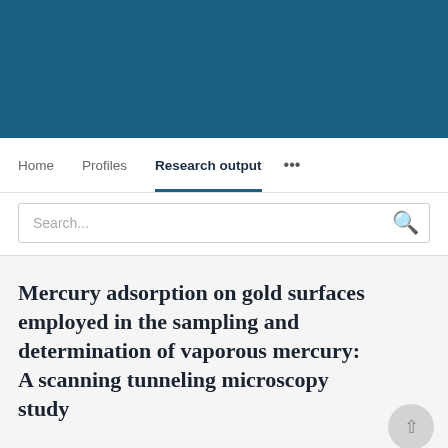[Figure (other): Dark teal/blue university or institutional website header banner]
Home   Profiles   Research output   ...
Search...
Mercury adsorption on gold surfaces employed in the sampling and determination of vaporous mercury: A scanning tunneling microscopy study